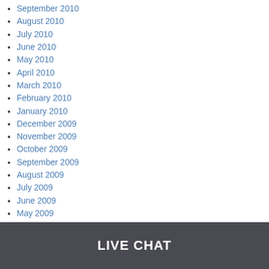September 2010
August 2010
July 2010
June 2010
May 2010
April 2010
March 2010
February 2010
January 2010
December 2009
November 2009
October 2009
September 2009
August 2009
July 2009
June 2009
May 2009
April 2009
March 2009
February 2009
LIVE CHAT